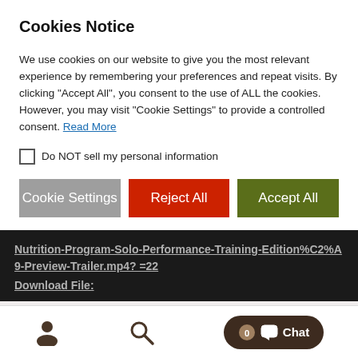Cookies Notice
We use cookies on our website to give you the most relevant experience by remembering your preferences and repeat visits. By clicking “Accept All”, you consent to the use of ALL the cookies. However, you may visit "Cookie Settings" to provide a controlled consent. Read More
Do NOT sell my personal information
Cookie Settings | Reject All | Accept All
Nutrition-Program-Solo-Performance-Training-Edition%C2%A9-Preview-Trailer.mp4? =22 Download File:
https://shop.3naturalbionutrition.com/wp-content/uploads/2021/03/ONE23-Performance-©Nutrition-Program-Solo-Performance-Training-